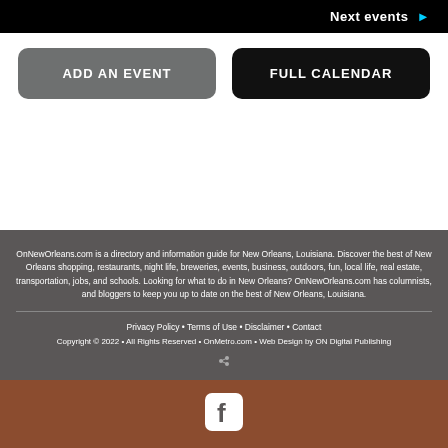[Figure (screenshot): Black top bar with 'Next events ►' text in white and cyan arrow]
ADD AN EVENT
FULL CALENDAR
OnNewOrleans.com is a directory and information guide for New Orleans, Louisiana. Discover the best of New Orleans shopping, restaurants, night life, breweries, events, business, outdoors, fun, local life, real estate, transportation, jobs, and schools. Looking for what to do in New Orleans? OnNewOrleans.com has columnists, and bloggers to keep you up to date on the best of New Orleans, Louisiana.
Privacy Policy • Terms of Use • Disclaimer • Contact
Copyright © 2022 • All Rights Reserved • OnMetro.com • Web Design by ON Digital Publishing
[Figure (logo): Facebook logo icon white on dark rounded square, on brown background]